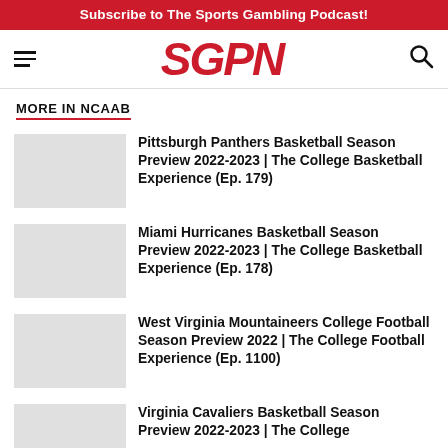Subscribe to The Sports Gambling Podcast!
[Figure (logo): SGPN logo in red italic bold text with hamburger menu icon on left and search icon on right]
MORE IN NCAAB
Pittsburgh Panthers Basketball Season Preview 2022-2023 | The College Basketball Experience (Ep. 179)
Miami Hurricanes Basketball Season Preview 2022-2023 | The College Basketball Experience (Ep. 178)
West Virginia Mountaineers College Football Season Preview 2022 | The College Football Experience (Ep. 1100)
Virginia Cavaliers Basketball Season Preview 2022-2023 | The College